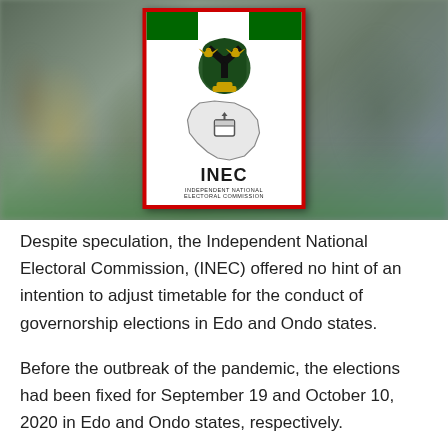[Figure (photo): Blurred background photo of people handling election materials with green bags/crates. Overlaid with the INEC (Independent National Electoral Commission) logo card featuring Nigeria's coat of arms, a map of Nigeria, and the text 'INEC' and 'Independent National Electoral Commission'.]
Despite speculation, the Independent National Electoral Commission, (INEC) offered no hint of an intention to adjust timetable for the conduct of governorship elections in Edo and Ondo states.
Before the outbreak of the pandemic, the elections had been fixed for September 19 and October 10, 2020 in Edo and Ondo states, respectively.